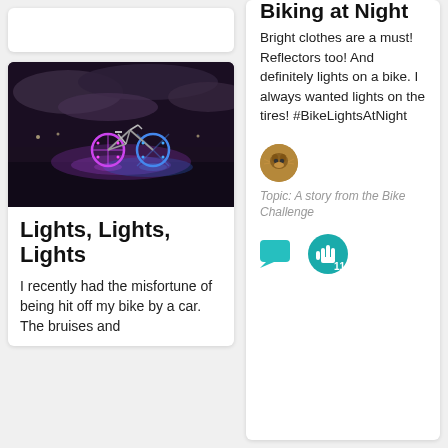[Figure (photo): A bike with colorful lights at night on a waterfront area, glowing purple and blue, dark cloudy sky.]
Lights, Lights, Lights
I recently had the misfortune of being hit off my bike by a car. The bruises and
Biking at Night
Bright clothes are a must! Reflectors too! And definitely lights on a bike. I always wanted lights on the tires! #BikeLightsAtNight
[Figure (photo): Small circular avatar image of a cat or similar animal.]
Topic: A story from the Bike Challenge
[Figure (infographic): Chat bubble icon (teal/cyan) and a teal circle with a hand icon and the number 11.]